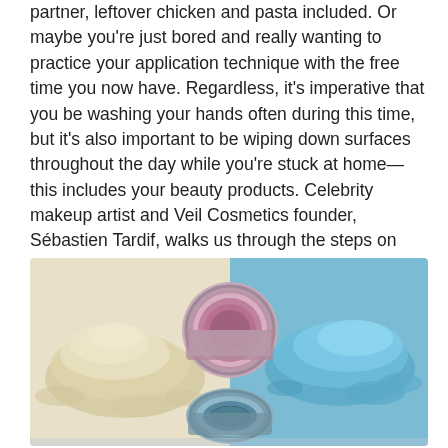partner, leftover chicken and pasta included. Or maybe you're just bored and really wanting to practice your application technique with the free time you now have. Regardless, it's imperative that you be washing your hands often during this time, but it's also important to be wiping down surfaces throughout the day while you're stuck at home—this includes your beauty products. Celebrity makeup artist and Veil Cosmetics founder, Sébastien Tardif, walks us through the steps on how to keep your makeup kit as clean as possible.
[Figure (photo): Overhead photo showing two piles of loose cosmetic powder (one beige/cream colored on the left, one blue on the right) next to two open circular makeup containers (one with pink/mauve powder, one with blue powder), on a split cream and blue background.]